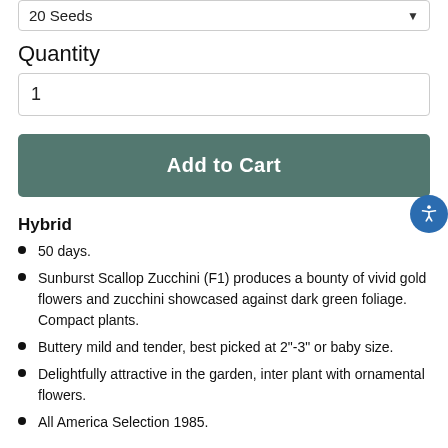20 Seeds
Quantity
1
Add to Cart
Hybrid
50 days.
Sunburst Scallop Zucchini (F1) produces a bounty of vivid gold flowers and zucchini showcased against dark green foliage. Compact plants.
Buttery mild and tender, best picked at 2"-3" or baby size.
Delightfully attractive in the garden, inter plant with ornamental flowers.
All America Selection 1985.